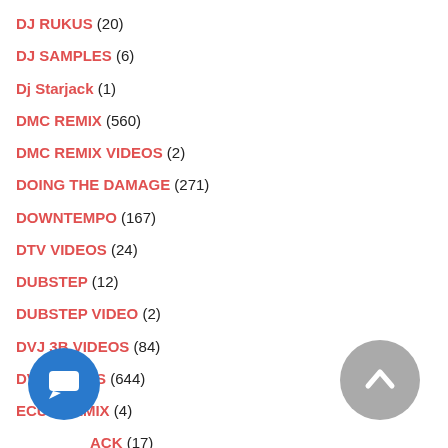DJ RUKUS (20)
DJ SAMPLES (6)
Dj Starjack (1)
DMC REMIX (560)
DMC REMIX VIDEOS (2)
DOING THE DAMAGE (271)
DOWNTEMPO (167)
DTV VIDEOS (24)
DUBSTEP (12)
DUBSTEP VIDEO (2)
DVJ 3B VIDEOS (84)
DVJ VIDEOS (644)
ECUA REMIX (4)
ELECTROJ ACK (17)
EDM VIDEOS (69)